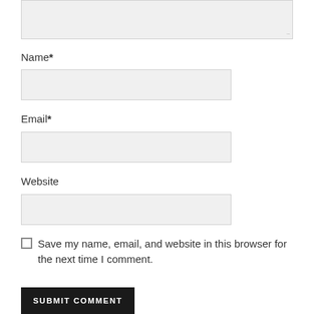[Figure (screenshot): Textarea input box (partially visible at top, light gray background with resize handle)]
Name*
[Figure (screenshot): Name input field, light gray background]
Email*
[Figure (screenshot): Email input field, light gray background]
Website
[Figure (screenshot): Website input field, light gray background]
Save my name, email, and website in this browser for the next time I comment.
SUBMIT COMMENT